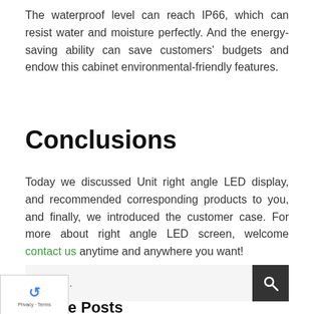The waterproof level can reach IP66, which can resist water and moisture perfectly. And the energy-saving ability can save customers' budgets and endow this cabinet environmental-friendly features.
Conclusions
Today we discussed Unit right angle LED display, and recommended corresponding products to you, and finally, we introduced the customer case. For more about right angle LED screen, welcome contact us anytime and anywhere you want!